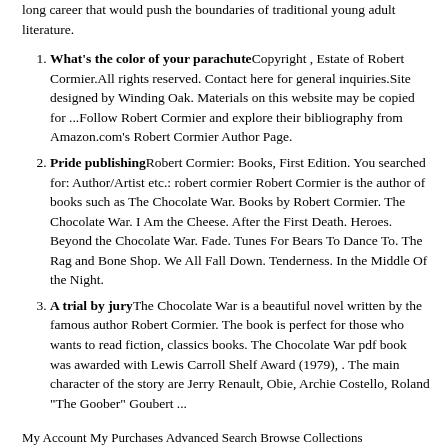long career that would push the boundaries of traditional young adult literature.
What's the color of your parachuteCopyright , Estate of Robert Cormier.All rights reserved. Contact here for general inquiries.Site designed by Winding Oak. Materials on this website may be copied for ...Follow Robert Cormier and explore their bibliography from Amazon.com's Robert Cormier Author Page.
Pride publishingRobert Cormier: Books, First Edition. You searched for: Author/Artist etc.: robert cormier Robert Cormier is the author of books such as The Chocolate War. Books by Robert Cormier. The Chocolate War. I Am the Cheese. After the First Death. Heroes. Beyond the Chocolate War. Fade. Tunes For Bears To Dance To. The Rag and Bone Shop. We All Fall Down. Tenderness. In the Middle Of the Night.
A trial by juryThe Chocolate War is a beautiful novel written by the famous author Robert Cormier. The book is perfect for those who wants to read fiction, classics books. The Chocolate War pdf book was awarded with Lewis Carroll Shelf Award (1979), . The main character of the story are Jerry Renault, Obie, Archie Costello, Roland "The Goober" Goubert ...
My Account My Purchases Advanced Search Browse Collections